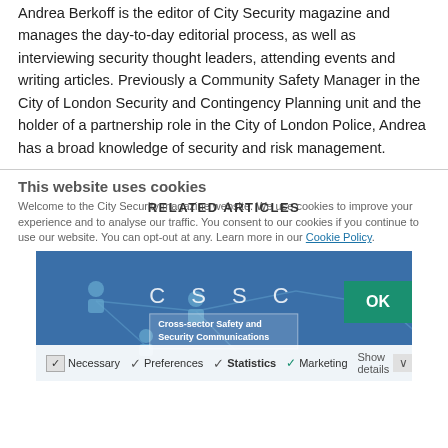Andrea Berkoff is the editor of City Security magazine and manages the day-to-day editorial process, as well as interviewing security thought leaders, attending events and writing articles. Previously a Community Safety Manager in the City of London Security and Contingency Planning unit and the holder of a partnership role in the City of London Police, Andrea has a broad knowledge of security and risk management.
RELATED ARTICLES
This website uses cookies
Welcome to the City Security magazine website. We use cookies to improve your experience and to analyse our traffic. You consent to our cookies if you continue to use our website. You can opt-out at any. Learn more in our Cookie Policy.
[Figure (illustration): CSSC (Cross-sector Safety and Security Communications) promotional banner with blue background showing network of connected figures, with cookie consent checkboxes overlay at bottom and OK button]